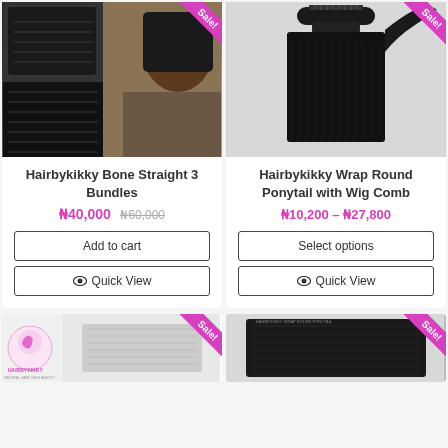[Figure (photo): Product photo collage of Hairbykikky Bone Straight 3 Bundles — woman with straight bob wig, hair bundles below, with Sale! badge]
Hairbykikky Bone Straight 3 Bundles
₦40,000 ₦60,000
Add to cart
👁 Quick View
[Figure (photo): Product photo of Hairbykikky Wrap Round Ponytail with Wig Comb — straight black ponytail hair piece on white background, with Sale! badge]
Hairbykikky Wrap Round Ponytail with Wig Comb
₦10,200 – ₦27,800
Select options
👁 Quick View
[Figure (photo): Bottom left partial card showing Hairbykikky logo and partial product image with Sale! badge]
[Figure (photo): Bottom right partial card showing partial dark hair product image with Sale! badge]